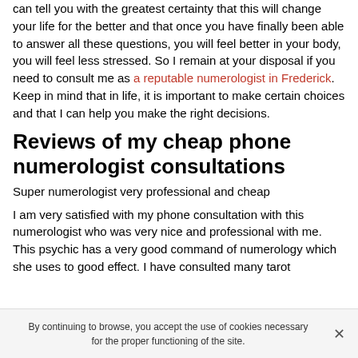can tell you with the greatest certainty that this will change your life for the better and that once you have finally been able to answer all these questions, you will feel better in your body, you will feel less stressed. So I remain at your disposal if you need to consult me as a reputable numerologist in Frederick. Keep in mind that in life, it is important to make certain choices and that I can help you make the right decisions.
Reviews of my cheap phone numerologist consultations
Super numerologist very professional and cheap
I am very satisfied with my phone consultation with this numerologist who was very nice and professional with me. This psychic has a very good command of numerology which she uses to good effect. I have consulted many tarot
By continuing to browse, you accept the use of cookies necessary for the proper functioning of the site.